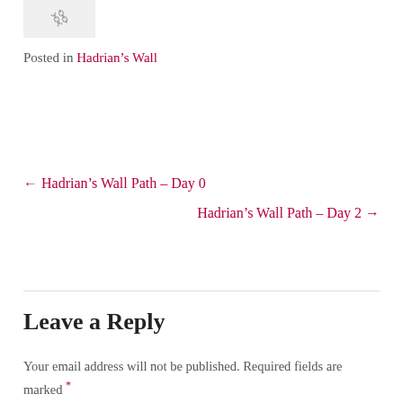[Figure (illustration): Small thumbnail image with a chain/link icon on a light gray background]
Posted in Hadrian's Wall
← Hadrian's Wall Path – Day 0
Hadrian's Wall Path – Day 2 →
Leave a Reply
Your email address will not be published. Required fields are marked *